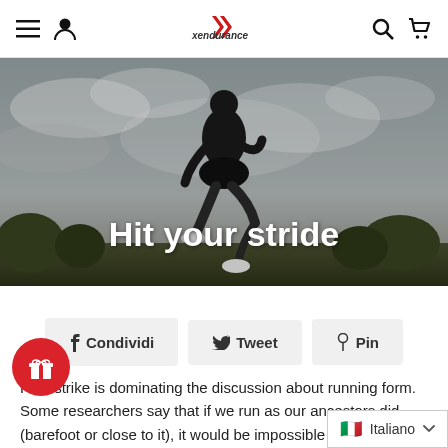Xendurance navigation bar with menu, user, logo, search and cart icons
[Figure (photo): A male runner mid-stride wearing dark tank top and shorts against a cloudy sky background, with the text 'Hit your stride' overlaid in white]
f Condividi   Tweet   Pin
Foot strike is dominating the discussion about running form. Some researchers say that if we run as our ancestors did (barefoot or close to it), it would be impossible to land on the heel, therefo...
Italiano